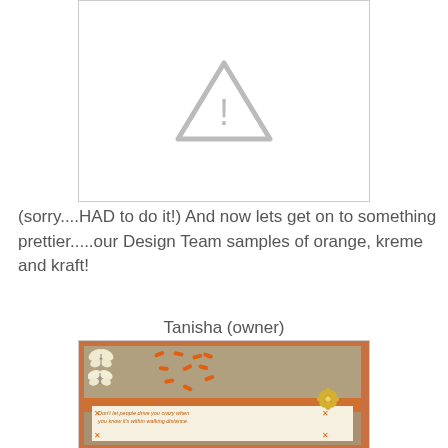[Figure (other): Broken/missing image placeholder with a gray warning triangle icon and border]
(sorry....HAD to do it!) And now lets get on to something prettier.....our Design Team samples of orange, kreme and kraft!
Tanisha (owner)
[Figure (photo): A handmade greeting card with orange, kraft (tan/brown), and cream colors featuring butterflies, flowers, orange dashes, and a quote: Don't let people drive you crazy when you know it's within walking distance.]